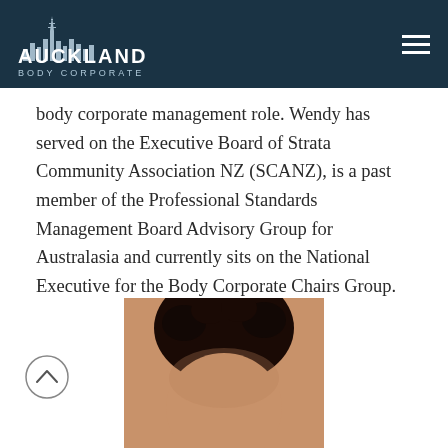Auckland Body Corporate
body corporate management role. Wendy has served on the Executive Board of Strata Community Association NZ (SCANZ), is a past member of the Professional Standards Management Board Advisory Group for Australasia and currently sits on the National Executive for the Body Corporate Chairs Group.
[Figure (photo): Partial photo of a person's head with dark curly hair pulled up, cropped at the top of the frame, bottom of the page]